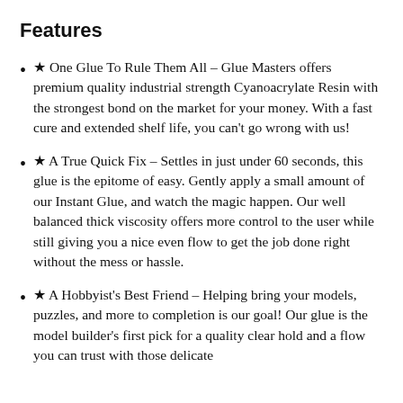Features
★ One Glue To Rule Them All – Glue Masters offers premium quality industrial strength Cyanoacrylate Resin with the strongest bond on the market for your money. With a fast cure and extended shelf life, you can't go wrong with us!
★ A True Quick Fix – Settles in just under 60 seconds, this glue is the epitome of easy. Gently apply a small amount of our Instant Glue, and watch the magic happen. Our well balanced thick viscosity offers more control to the user while still giving you a nice even flow to get the job done right without the mess or hassle.
★ A Hobbyist's Best Friend – Helping bring your models, puzzles, and more to completion is our goal! Our glue is the model builder's first pick for a quality clear hold and a flow you can trust with those delicate